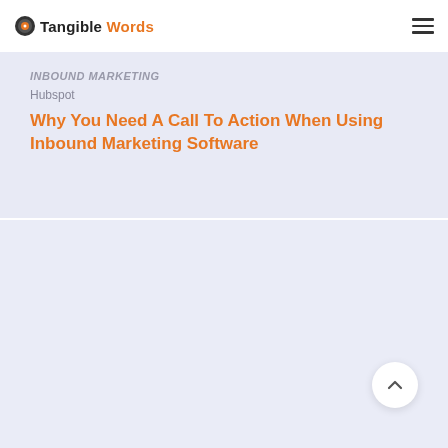Tangible Words
Inbound Marketing
Hubspot
Why You Need A Call To Action When Using Inbound Marketing Software
[Figure (other): Empty light blue/lavender card area below the article card, with a white scroll-to-top button in the lower right corner]